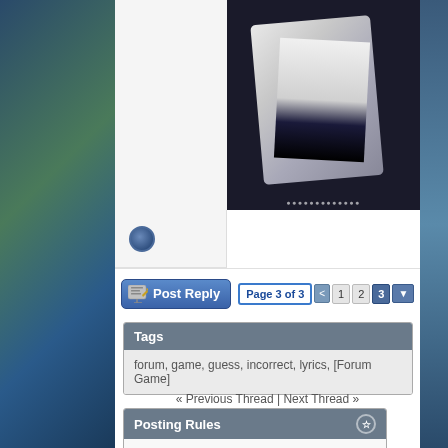[Figure (screenshot): Anime character screenshot showing a figure in white/dark clothing against dark background, with pagination dots at bottom]
[Figure (screenshot): Circular blue avatar/user icon]
[Figure (screenshot): Post Reply button (blue) and page navigation showing Page 3 of 3 with links < 1 2 3 and dropdown]
| Tags |
| --- |
| forum, game, guess, incorrect, lyrics, [Forum Game] |
« Previous Thread | Next Thread »
| Posting Rules |
| --- |
| You may not post new threads |
| You may not post replies |
| You may not post attachments |
| You may not edit your posts |
| BB code is On |
| Smilies are On |
| [IMG] code is On |
| HTML code is Off |